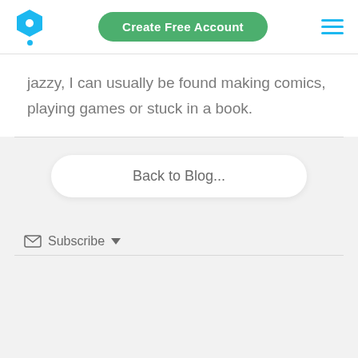[Figure (logo): Blue hexagon logo with white circle dot in center, small blue dot below]
Create Free Account
[Figure (other): Hamburger menu icon with three horizontal blue lines]
jazzy, I can usually be found making comics, playing games or stuck in a book.
Back to Blog...
Subscribe